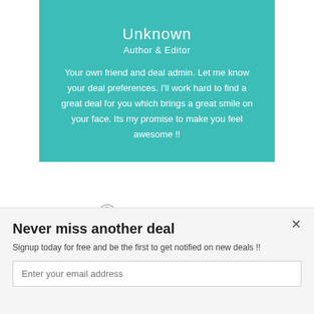[Figure (photo): Author profile photo partially visible at top of teal card]
Unknown
Author & Editor
Your own friend and deal admin. Let me know your deal preferences. I'll work hard to find a great deal for you which brings a great smile on your face. Its my promise to make you feel awesome !!
0 COMMENTS :
Never miss another deal
Signup today for free and be the first to get notified on new deals !!
Enter your email address